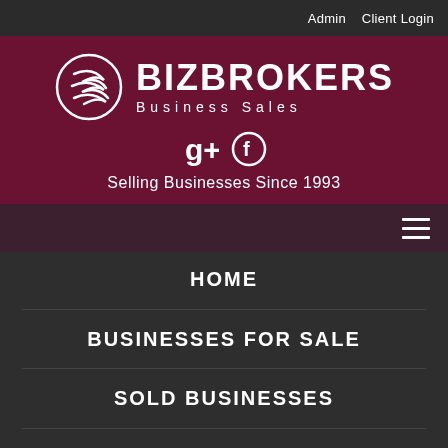Admin   Client Login
[Figure (logo): BizBrokers Business Sales logo with stylized swoosh icon, text BIZBROKERS and Business Sales]
Selling Businesses Since 1993
HOME
BUSINESSES FOR SALE
SOLD BUSINESSES
SELLING A BUSINESS